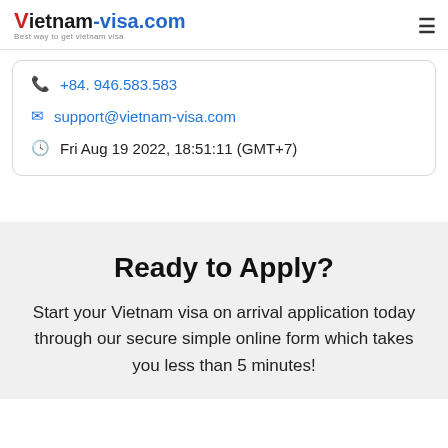vietnam-visa.com — Best way to get vietnam visa
+84. 946.583.583
support@vietnam-visa.com
Fri Aug 19 2022, 18:51:11 (GMT+7)
Ready to Apply?
Start your Vietnam visa on arrival application today through our secure simple online form which takes you less than 5 minutes!